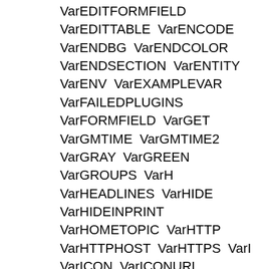VarEDITFORMFIELD VarEDITTABLE VarENCODE VarENDBG VarENDCOLOR VarENDSECTION VarENTITY VarENV VarEXAMPLEVAR VarFAILEDPLUGINS VarFORMFIELD VarGET VarGMTIME VarGMTIME2 VarGRAY VarGREEN VarGROUPS VarH VarHEADLINES VarHIDE VarHIDEINPRINT VarHOMETOPIC VarHTTP VarHTTPHOST VarHTTPS VarI VarICON VarICONURL VarICONURLPATH VarIF VarINCLUDE VarINCLUDINGTOPIC VarINCLUDINGWEB VarJQENDTAB VarJQENDTABPANE VarJQTAB VarJQTABPANE VarLANGUAGE VarLANGUAGES VarLAQUO VarLIME VarLOCALSITEPREFS VarLOGIN VarLOGINURL VarLOGOUT VarLOGOUTURL VarM VarMAINWEB VarMAKETEXT VarMAROON VarMDREPO VarMETA VarMETASEARCH VarN VarNAVY VarNBSP VarNOP VarNOTIFYTOPIC VarOLIVE VarORANGE VarP VarPARENTBC